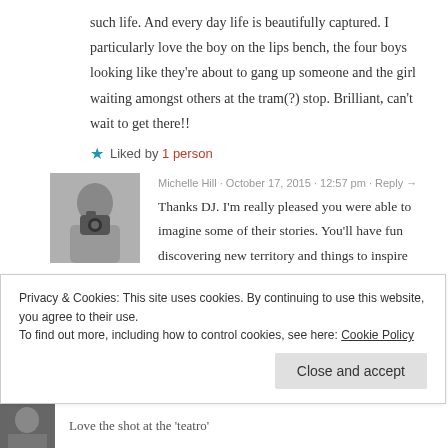such life. And every day life is beautifully captured. I particularly love the boy on the lips bench, the four boys looking like they're about to gang up someone and the girl waiting amongst others at the tram(?) stop. Brilliant, can't wait to get there!!
★ Liked by 1 person
Michelle Hill · October 17, 2015 · 12:57 pm · Reply →
Thanks DJ. I'm really pleased you were able to imagine some of their stories. You'll have fun discovering new territory and things to inspire when
Privacy & Cookies: This site uses cookies. By continuing to use this website, you agree to their use.
To find out more, including how to control cookies, see here: Cookie Policy
Close and accept
Love the shot at the 'teatro'